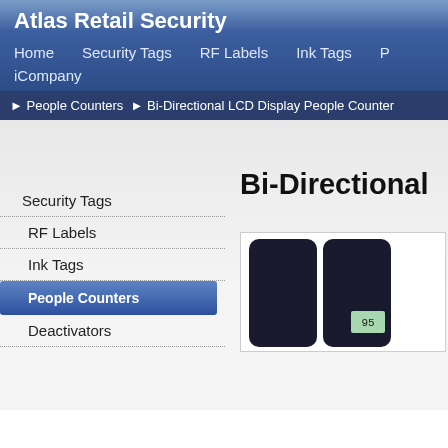Atlas Retail Security
Home   Security Tags   RF Labels   Ink Tags   P   iCompany
► People Counters ► Bi-Directional LCD Display People Counter
Security Tags
RF Labels
Ink Tags
People Counters
Deactivators
Bi-Directional
[Figure (photo): Two black rectangular people counter devices side by side; the right one shows an LCD display reading '95']